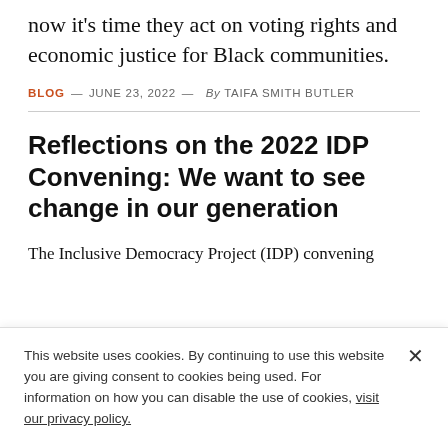now it's time they act on voting rights and economic justice for Black communities.
BLOG — JUNE 23, 2022 — By TAIFA SMITH BUTLER
Reflections on the 2022 IDP Convening: We want to see change in our generation
The Inclusive Democracy Project (IDP) convening
This website uses cookies. By continuing to use this website you are giving consent to cookies being used. For information on how you can disable the use of cookies, visit our privacy policy.